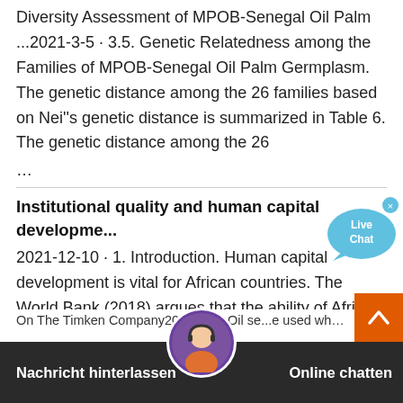Diversity Assessment of MPOB-Senegal Oil Palm ...2021-3-5 · 3.5. Genetic Relatedness among the Families of MPOB-Senegal Oil Palm Germplasm. The genetic distance among the 26 families based on Nei"s genetic distance is summarized in Table 6. The genetic distance among the 26 ...
Institutional quality and human capital developme...
2021-12-10 · 1. Introduction. Human capital development is vital for African countries. The World Bank (2018) argues that the ability of African countries to reduce poverty and inequality is essentially based on having an educated, well-trained, and resilient population. In other words, a skilled and empowered workforce is a valuable asset that can African economies to ...
On The Timken Company2022-1-9 · Oil se...e used wherever shafts
[Figure (screenshot): Live Chat speech bubble icon with 'Live Chat' text in blue, and a close (x) button]
[Figure (screenshot): Orange scroll-to-top button with upward chevron arrow]
[Figure (screenshot): Dark bottom chat bar with avatar, 'Nachricht hinterlassen' on left and 'Online chatten' on right]